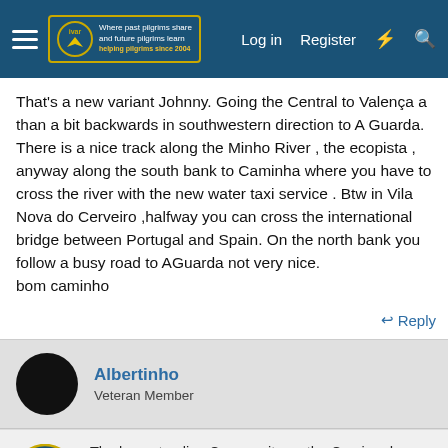Forum navigation bar with logo, Log in, Register links
That's a new variant Johnny. Going the Central to Valença a than a bit backwards in southwestern direction to A Guarda. There is a nice track along the Minho River , the ecopista , anyway along the south bank to Caminha where you have to cross the river with the new water taxi service . Btw in Vila Nova do Cerveiro ,halfway you can cross the international bridge between Portugal and Spain. On the north bank you follow a busy road to AGuarda not very nice.
bom caminho
↩ Reply
Albertinho
Veteran Member
The largest online Community on the Camino de Santiago. Helping pilgrims travel to Santiago de Compostela. Register (free) or Log in to join.